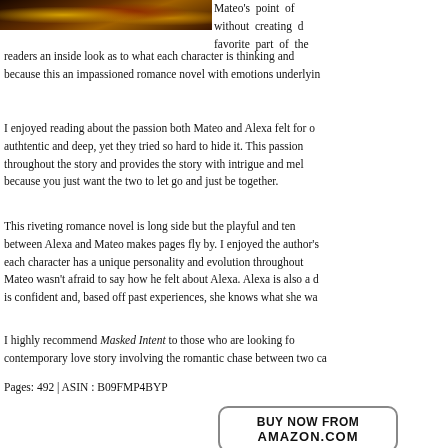[Figure (photo): Partial image of jewelry or decorative items with gold and gemstone tones, cropped at top left of page]
Mateo's point of without creating favorite part of the readers an inside look as to what each character is thinking and because this an impassioned romance novel with emotions underlyin
I enjoyed reading about the passion both Mateo and Alexa felt for o authtentic and deep, yet they tried so hard to hide it. This passion throughout the story and provides the story with intrigue and mel because you just want the two to let go and just be together.
This riveting romance novel is long side but the playful and ten between Alexa and Mateo makes pages fly by. I enjoyed the author's each character has a unique personality and evolution throughout Mateo wasn't afraid to say how he felt about Alexa. Alexa is also a c is confident and, based off past experiences, she knows what she wa
I highly recommend Masked Intent to those who are looking fo contemporary love story involving the romantic chase between two ca
Pages: 492 | ASIN : B09FMP4BYP
BUY NOW FROM AMAZON.COM